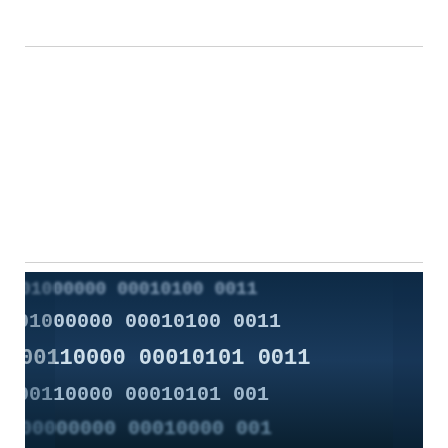[Figure (photo): Close-up photograph of a dark blue screen displaying rows of binary code (0s and 1s) in white/light colored digits, showing sequences like '01000000 00010100 00110', '00110000 00010101 0011', and similar binary patterns against a dark background.]